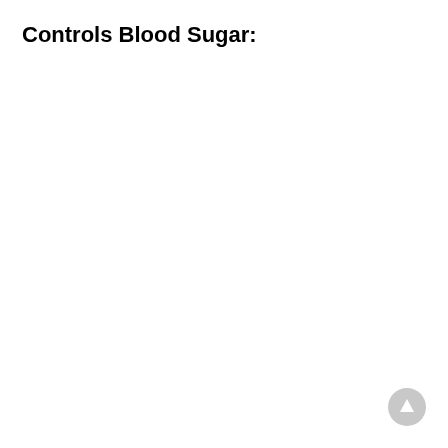Controls Blood Sugar:
[Figure (other): Circular scroll-to-top button with upward arrow, light gray background]